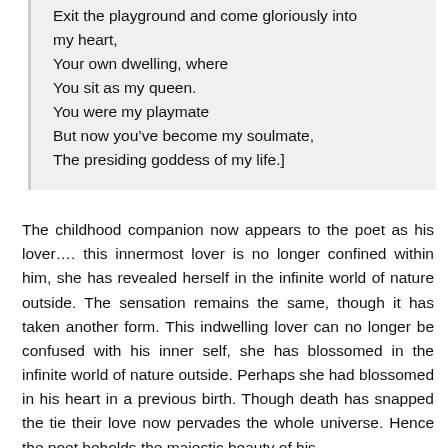Exit the playground and come gloriously into my heart,
Your own dwelling, where
You sit as my queen.
You were my playmate
But now you’ve become my soulmate,
The presiding goddess of my life.]
The childhood companion now appears to the poet as his lover…. this innermost lover is no longer confined within him, she has revealed herself in the infinite world of nature outside. The sensation remains the same, though it has taken another form. This indwelling lover can no longer be confused with his inner self, she has blossomed in the infinite world of nature outside. Perhaps she had blossomed in his heart in a previous birth. Though death has snapped the tie their love now pervades the whole universe. Hence the poet beholds the majestic beauty of his